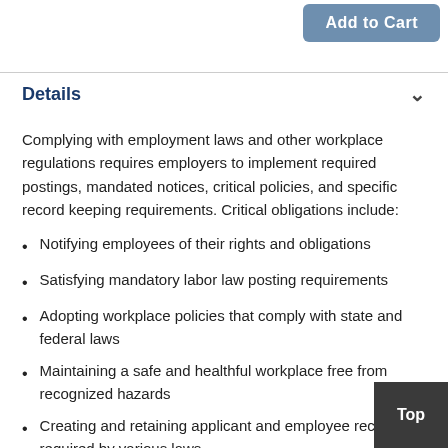[Figure (other): Add to Cart button (blue-grey rounded rectangle)]
Details
Complying with employment laws and other workplace regulations requires employers to implement required postings, mandated notices, critical policies, and specific record keeping requirements. Critical obligations include:
Notifying employees of their rights and obligations
Satisfying mandatory labor law posting requirements
Adopting workplace policies that comply with state and federal laws
Maintaining a safe and healthful workplace free from recognized hazards
Creating and retaining applicant and employee records as required by various laws
In addition, under state and federal laws, employers are